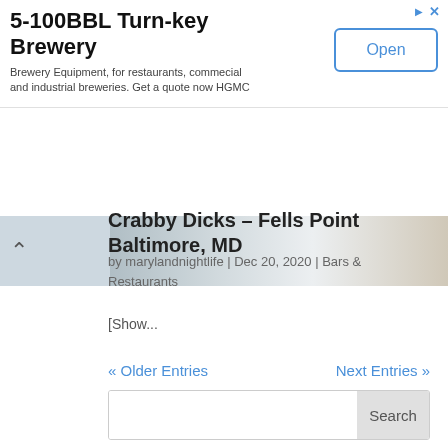[Figure (screenshot): Advertisement banner for 5-100BBL Turn-key Brewery with an Open button]
[Figure (photo): Partial photo strip showing people in white clothing, with a chevron-up icon on the left]
Crabby Dicks – Fells Point Baltimore, MD
by marylandnightlife | Dec 20, 2020 | Bars & Restaurants
[Show...
« Older Entries
Next Entries »